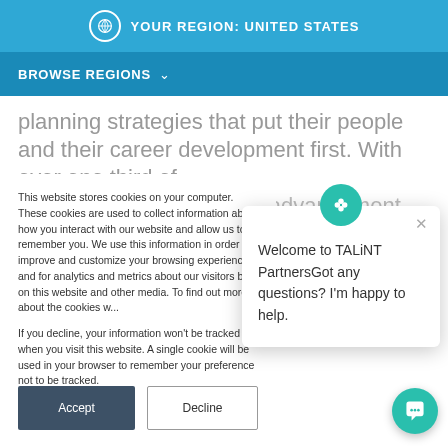YOUR REGION: UNITED STATES
BROWSE REGIONS
planning strategies that put their people and their career development first. With over one third of employees saying career advancement opportunities
This website stores cookies on your computer. These cookies are used to collect information about how you interact with our website and allow us to remember you. We use this information in order to improve and customize your browsing experience and for analytics and metrics about our visitors both on this website and other media. To find out more about the cookies we use...
If you decline, your information won't be tracked when you visit this website. A single cookie will be used in your browser to remember your preference not to be tracked.
Welcome to TALiNT PartnersGot any questions? I'm happy to help.
Accept
Decline